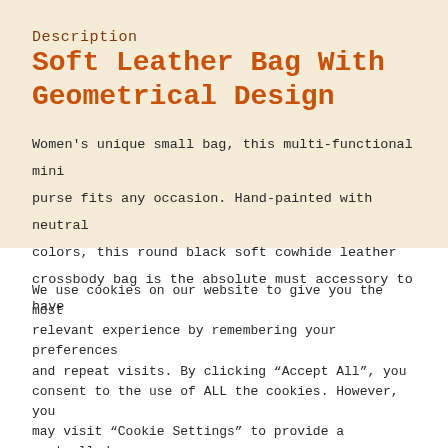Description
Soft Leather Bag With Geometrical Design
Women’s unique small bag, this multi-functional mini purse fits any occasion. Hand-painted with neutral colors, this round black soft cowhide leather crossbody bag is the absolute must accessory to have
We use cookies on our website to give you the most relevant experience by remembering your preferences and repeat visits. By clicking “Accept All”, you consent to the use of ALL the cookies. However, you may visit “Cookie Settings” to provide a controlled consent.
Cookie Settings | Accept All